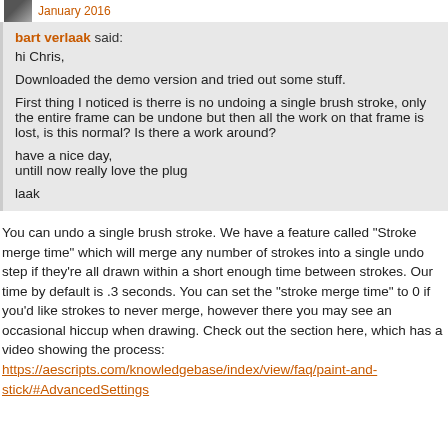January 2016
bart verlaak said:
hi Chris,

Downloaded the demo version and tried out some stuff.

First thing I noticed is therre is no undoing a single brush stroke, only the entire frame can be undone but then all the work on that frame is lost, is this normal? Is there a work around?

have a nice day,
untill now really love the plug

laak
You can undo a single brush stroke. We have a feature called "Stroke merge time" which will merge any number of strokes into a single undo step if they're all drawn within a short enough time between strokes. Our time by default is .3 seconds. You can set the "stroke merge time" to 0 if you'd like strokes to never merge, however there you may see an occasional hiccup when drawing. Check out the section here, which has a video showing the process:
https://aescripts.com/knowledgebase/index/view/faq/paint-and-stick/#AdvancedSettings